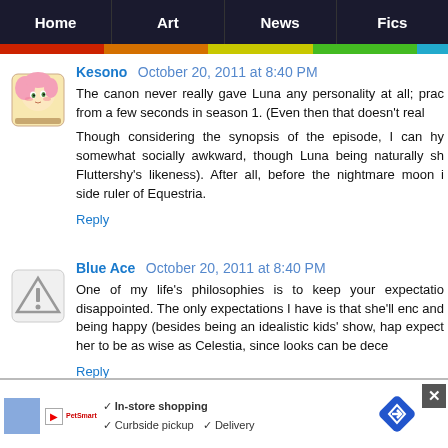Home | Art | News | Fics
Kesono  October 20, 2011 at 8:40 PM
The canon never really gave Luna any personality at all; prac from a few seconds in season 1. (Even then that doesn't real
Though considering the synopsis of the episode, I can hy somewhat socially awkward, though Luna being naturally sh Fluttershy's likeness). After all, before the nightmare moon i side ruler of Equestria.
Reply
Blue Ace  October 20, 2011 at 8:40 PM
One of my life's philosophies is to keep your expectatio disappointed. The only expectations I have is that she'll enc and being happy (besides being an idealistic kids' show, hap expect her to be as wise as Celestia, since looks can be dece
Reply
In-store shopping  ✓ Curbside pickup  ✓ Delivery